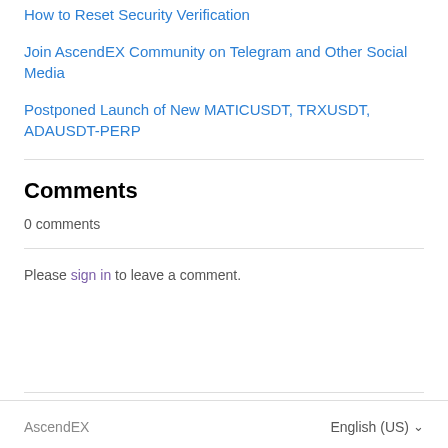How to Reset Security Verification
Join AscendEX Community on Telegram and Other Social Media
Postponed Launch of New MATICUSDT, TRXUSDT, ADAUSDT-PERP
Comments
0 comments
Please sign in to leave a comment.
AscendEX   English (US)